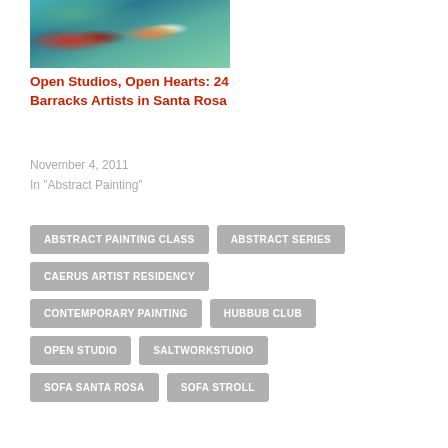[Figure (photo): Abstract painting with teal/turquoise background, flowers, and a red vase]
Open Studios, Open Hearts: 24 Barracks Artists in Santa Rosa
November 4, 2011
In "Abstract Painting"
ABSTRACT PAINTING CLASS
ABSTRACT SERIES
CAERUS ARTIST RESIDENCY
CONTEMPORARY PAINTING
HUBBUB CLUB
OPEN STUDIO
SALTWORKSTUDIO
SOFA SANTA ROSA
SOFA STROLL